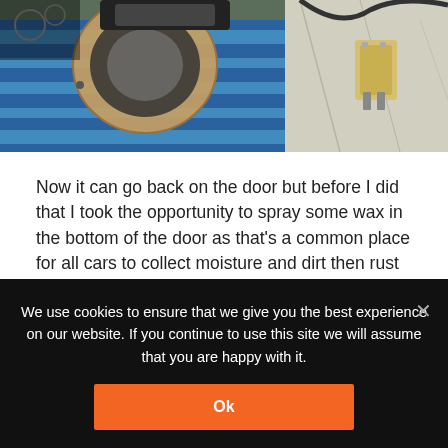[Figure (photo): Photo of car door speaker components: a blue striped towel/cloth, a cardboard speaker gasket ring, black speaker hardware, and electrical connectors on a light surface]
Now it can go back on the door but before I did that I took the opportunity to spray some wax in the bottom of the door as that's a common place for all cars to collect moisture and dirt then rust from the inside out.
Mil-spec clear rustproofing wax thinned slightly with some
We use cookies to ensure that we give you the best experience on our website. If you continue to use this site we will assume that you are happy with it.